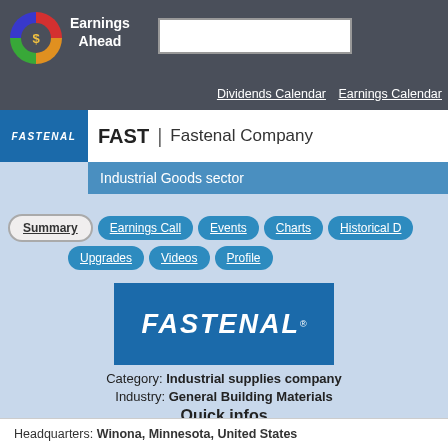Earnings Ahead
Dividends Calendar  Earnings Calendar
FAST | Fastenal Company
Industrial Goods sector
Summary  Earnings Call  Events  Charts  Historical D  Upgrades  Videos  Profile
[Figure (logo): Fastenal company logo - white italic text on blue background]
Category: Industrial supplies company
Industry: General Building Materials
Quick infos
Headquarters: Winona, Minnesota, United States